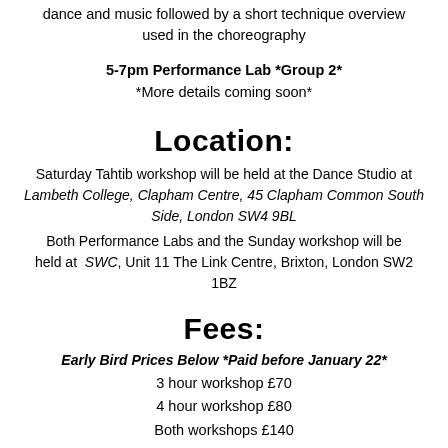dance and music followed by a short technique overview used in the choreography
5-7pm Performance Lab *Group 2*
*More details coming soon*
Location:
Saturday Tahtib workshop will be held at the Dance Studio at Lambeth College, Clapham Centre, 45 Clapham Common South Side, London SW4 9BL
Both Performance Labs and the Sunday workshop will be held at SWC, Unit 11 The Link Centre, Brixton, London SW2 1BZ
Fees:
Early Bird Prices Below *Paid before January 22*
3 hour workshop £70
4 hour workshop £80
Both workshops £140